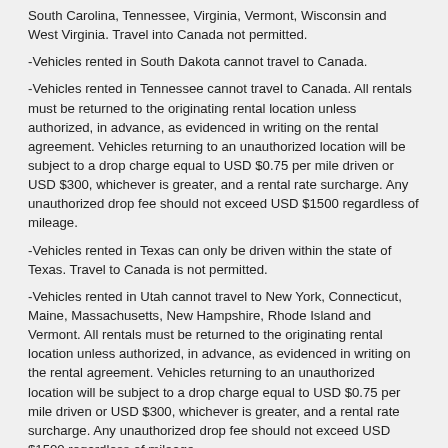South Carolina, Tennessee, Virginia, Vermont, Wisconsin and West Virginia. Travel into Canada not permitted.
-Vehicles rented in South Dakota cannot travel to Canada.
-Vehicles rented in Tennessee cannot travel to Canada. All rentals must be returned to the originating rental location unless authorized, in advance, as evidenced in writing on the rental agreement. Vehicles returning to an unauthorized location will be subject to a drop charge equal to USD $0.75 per mile driven or USD $300, whichever is greater, and a rental rate surcharge. Any unauthorized drop fee should not exceed USD $1500 regardless of mileage.
-Vehicles rented in Texas can only be driven within the state of Texas. Travel to Canada is not permitted.
-Vehicles rented in Utah cannot travel to New York, Connecticut, Maine, Massachusetts, New Hampshire, Rhode Island and Vermont. All rentals must be returned to the originating rental location unless authorized, in advance, as evidenced in writing on the rental agreement. Vehicles returning to an unauthorized location will be subject to a drop charge equal to USD $0.75 per mile driven or USD $300, whichever is greater, and a rental rate surcharge. Any unauthorized drop fee should not exceed USD $1500 regardless of mileage.
-Vehicles rented in Washington can only travel within the states of Washington and Oregon and in the province of British Columbia.
-Vehicles rented in Wisconsin of particular class groups are allowed to be driven into Canada. Authorisation must be granted by the supplier before travel. Use is restricted to no more than 200 miles across the Canadian border.
-Vehicles rented in Wyoming cannot travel to Canada.